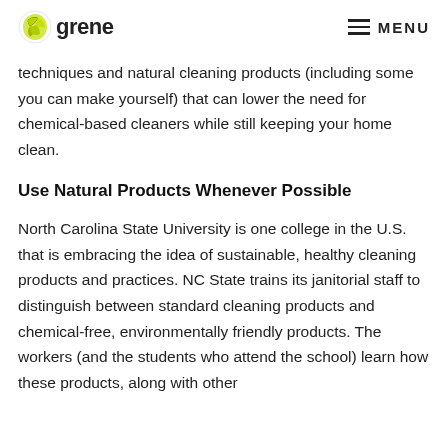Ygrene | MENU
techniques and natural cleaning products (including some you can make yourself) that can lower the need for chemical-based cleaners while still keeping your home clean.
Use Natural Products Whenever Possible
North Carolina State University is one college in the U.S. that is embracing the idea of sustainable, healthy cleaning products and practices. NC State trains its janitorial staff to distinguish between standard cleaning products and chemical-free, environmentally friendly products. The workers (and the students who attend the school) learn how these products, along with other